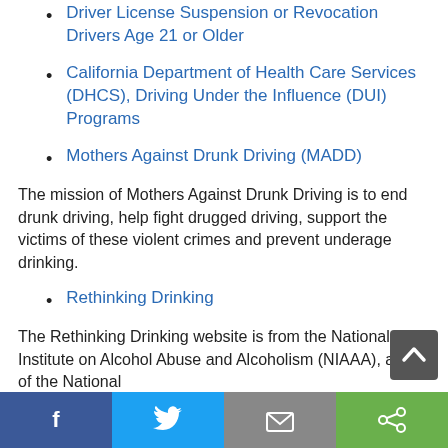Driver License Suspension or Revocation Drivers Age 21 or Older
California Department of Health Care Services (DHCS), Driving Under the Influence (DUI) Programs
Mothers Against Drunk Driving (MADD)
The mission of Mothers Against Drunk Driving is to end drunk driving, help fight drugged driving, support the victims of these violent crimes and prevent underage drinking.
Rethinking Drinking
The Rethinking Drinking website is from the National Institute on Alcohol Abuse and Alcoholism (NIAAA), a part of the National